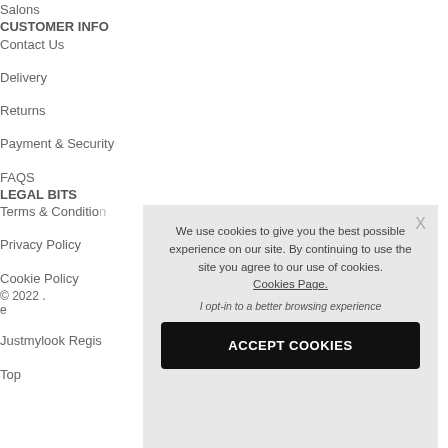Salons
CUSTOMER INFO
Contact Us
Delivery
Returns
Payment & Security
FAQS
LEGAL BITS
Terms & Conditions
Privacy Policy
Cookie Policy
© 2022 ...
e...
Justmylook Regis...
Top
We use cookies to give you the best possible experience on our site. By continuing to use the site you agree to our use of cookies. Cookies Page. I opt-in to a better browsing experience
ACCEPT COOKIES